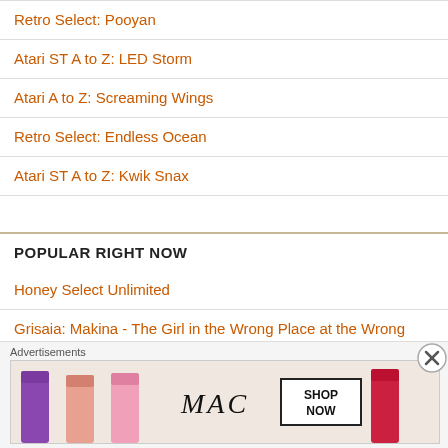Retro Select: Pooyan
Atari ST A to Z: LED Storm
Atari A to Z: Screaming Wings
Retro Select: Endless Ocean
Atari ST A to Z: Kwik Snax
POPULAR RIGHT NOW
Honey Select Unlimited
Grisaia: Makina - The Girl in the Wrong Place at the Wrong Time
Magicami DX
[Figure (other): MAC Cosmetics advertisement showing lipsticks with SHOP NOW button and close X button]